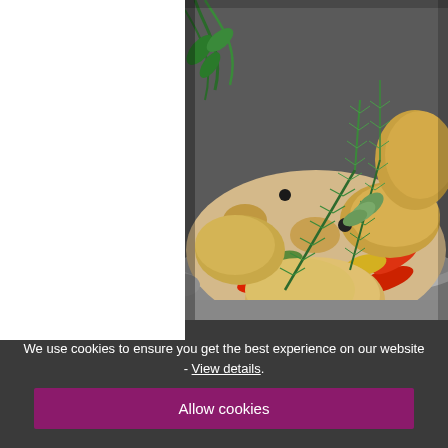[Figure (photo): Close-up photo of roasted chicken pieces with colorful vegetables (red and yellow peppers, potatoes) in a gray ceramic baking dish, garnished with fresh rosemary sprigs, sage leaves, and black olives]
We use cookies to ensure you get the best experience on our website - View details.
Allow cookies